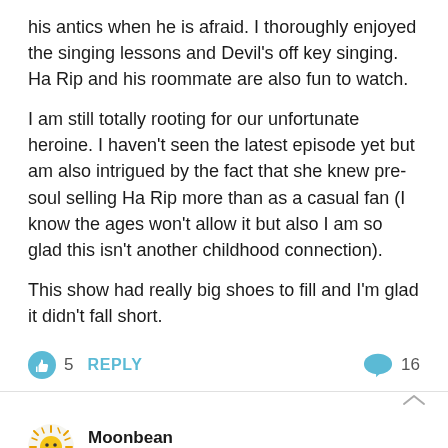his antics when he is afraid. I thoroughly enjoyed the singing lessons and Devil's off key singing. Ha Rip and his roommate are also fun to watch.
I am still totally rooting for our unfortunate heroine. I haven't seen the latest episode yet but am also intrigued by the fact that she knew pre-soul selling Ha Rip more than as a casual fan (I know the ages won't allow it but also I am so glad this isn't another childhood connection).
This show had really big shoes to fill and I'm glad it didn't fall short.
👍 5  REPLY   💬 16
Moonbean
August 10, 2019 at 4:35 AM
I am current with Rookie Historian Goo Hae Ryung